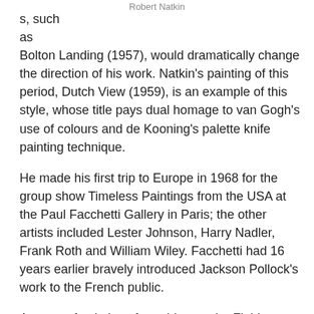Robert Natkin
s, such as Bolton Landing (1957), would dramatically change the direction of his work. Natkin’s painting of this period, Dutch View (1959), is an example of this style, whose title pays dual homage to van Gogh’s use of colours and de Kooning’s palette knife painting technique.
He made his first trip to Europe in 1968 for the group show Timeless Paintings from the USA at the Paul Facchetti Gallery in Paris; the other artists included Lester Johnson, Harry Nadler, Frank Roth and William Wiley. Facchetti had 16 years earlier bravely introduced Jackson Pollock’s work to the French public.
A group of paintings from this era, the Field Mouse